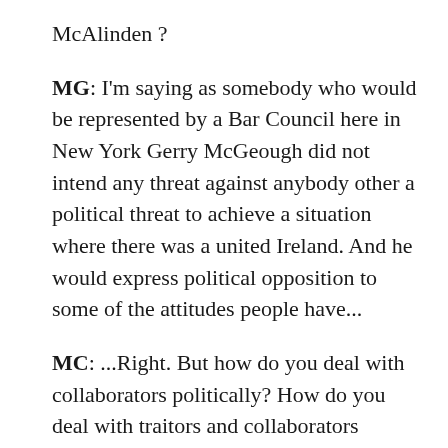McAlinden ?
MG: I'm saying as somebody who would be represented by a Bar Council here in New York Gerry McGeough did not intend any threat against anybody other a political threat to achieve a situation where there was a united Ireland. And he would express political opposition to some of the attitudes people have...
MC: ...Right. But how do you deal with collaborators politically? How do you deal with traitors and collaborators politically?